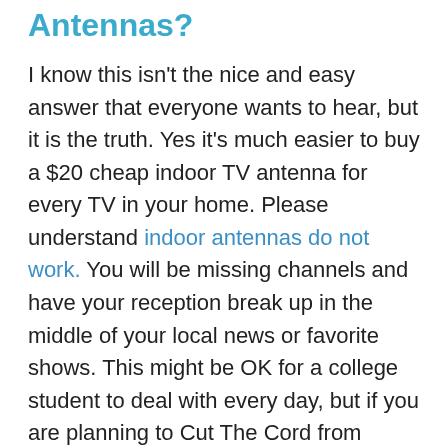Antennas?
I know this isn't the nice and easy answer that everyone wants to hear, but it is the truth. Yes it's much easier to buy a $20 cheap indoor TV antenna for every TV in your home. Please understand indoor antennas do not work. You will be missing channels and have your reception break up in the middle of your local news or favorite shows. This might be OK for a college student to deal with every day, but if you are planning to Cut The Cord from Cable and Satellite for good, it's not worth the sacrifice.